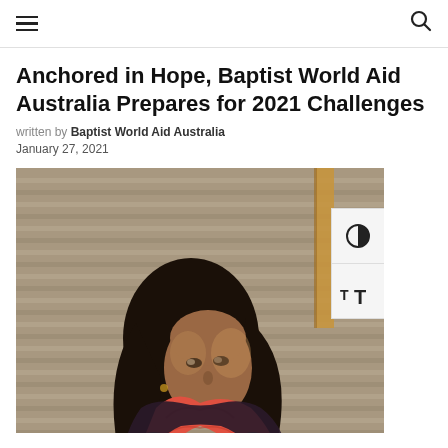≡  🔍
Anchored in Hope, Baptist World Aid Australia Prepares for 2021 Challenges
written by Baptist World Aid Australia
January 27, 2021
[Figure (photo): A young woman with long dark hair wearing a red scarf/dupatta and colorful green and pink embroidered vest, looking upward, photographed against a corrugated metal background in a documentary/humanitarian style.]